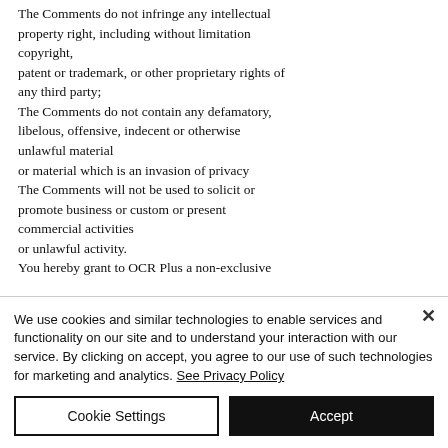The Comments do not infringe any intellectual property right, including without limitation copyright, patent or trademark, or other proprietary rights of any third party; The Comments do not contain any defamatory, libelous, offensive, indecent or otherwise unlawful material or material which is an invasion of privacy The Comments will not be used to solicit or promote business or custom or present commercial activities or unlawful activity. You hereby grant to OCR Plus a non-exclusive
We use cookies and similar technologies to enable services and functionality on our site and to understand your interaction with our service. By clicking on accept, you agree to our use of such technologies for marketing and analytics. See Privacy Policy
Cookie Settings
Accept